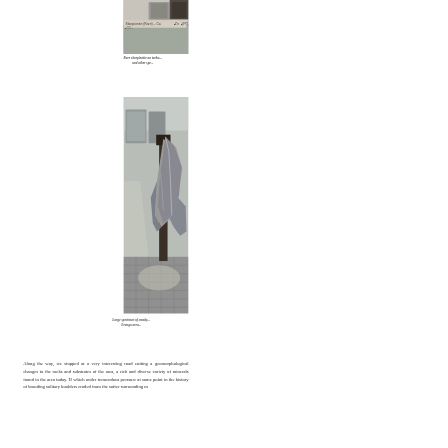[Figure (photo): Photo of a museum mineral specimen display case showing skorpionite (rare) label with formula Ca2Zn3(PO4)2CO... The specimen is displayed on a shelf.]
Rare skorpionite on tarbu... and other spe...
[Figure (photo): Large specimen of smoky quartz or similar mineral displayed on a stand in a museum interior with tiled floor and display cases in background. Erongo area.]
Large specimen of smoky... Erongo area...
Along the way, we stopped at a very interesting road cutting a... geomorphological changes to the rocks and substrates of the area, a rich and diverse variety of minerals found in the area today. H... which under tremendous pressure at some point in the history of ... brooding solitary boulders eroded from the softer surrounding m...